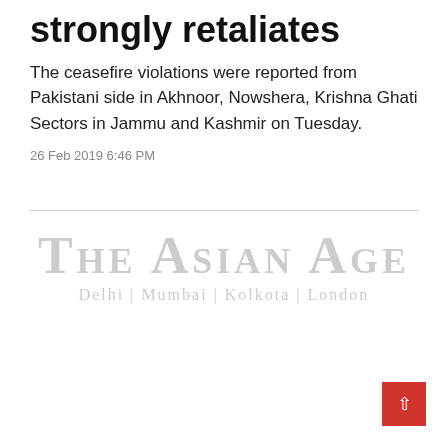strongly retaliates
The ceasefire violations were reported from Pakistani side in Akhnoor, Nowshera, Krishna Ghati Sectors in Jammu and Kashmir on Tuesday.
26 Feb 2019 6:46 PM
[Figure (logo): The Asian Age newspaper logo with tagline 'Delhi | Mumbai | Kolkota | London']